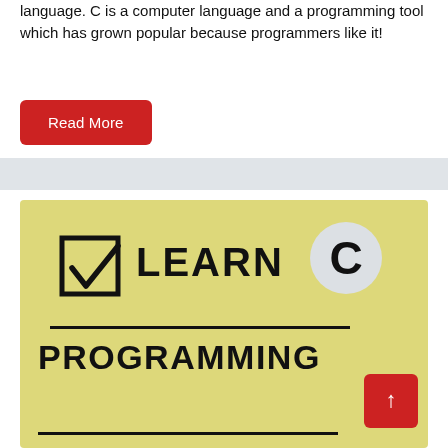language. C is a computer language and a programming tool which has grown popular because programmers like it!
Read More
[Figure (illustration): Yellow banner image with a checkbox icon, the text 'LEARN C' where C is in a grey circle, a horizontal line, and the word 'PROGRAMMING' in bold black text, with a red scroll-to-top button in the bottom right corner.]